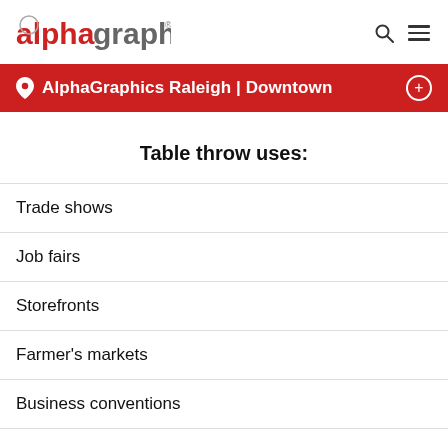alphagraphics
AlphaGraphics Raleigh | Downtown
Table throw uses:
Trade shows
Job fairs
Storefronts
Farmer's markets
Business conventions